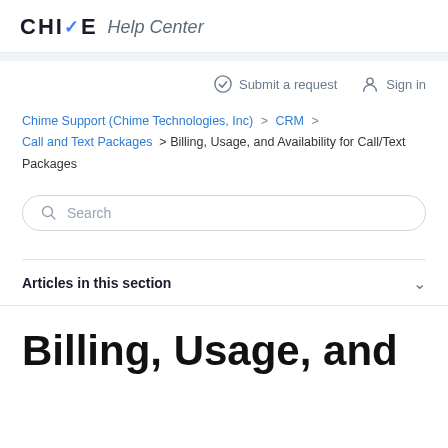CHIME Help Center
Submit a request   Sign in
Chime Support (Chime Technologies, Inc) > CRM > Call and Text Packages > Billing, Usage, and Availability for Call/Text Packages
Search
Articles in this section
Billing, Usage, and